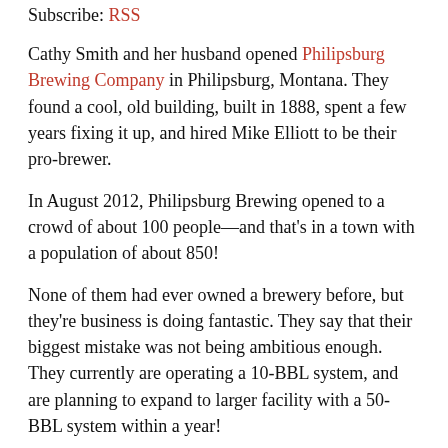Subscribe: RSS
Cathy Smith and her husband opened Philipsburg Brewing Company in Philipsburg, Montana. They found a cool, old building, built in 1888, spent a few years fixing it up, and hired Mike Elliott to be their pro-brewer.
In August 2012, Philipsburg Brewing opened to a crowd of about 100 people—and that's in a town with a population of about 850!
None of them had ever owned a brewery before, but they're business is doing fantastic. They say that their biggest mistake was not being ambitious enough. They currently are operating a 10-BBL system, and are planning to expand to larger facility with a 50-BBL system within a year!
Cathy tells us why they walk customers to the door. Mike tells us about his invention for the bar.
They are both great speakers and this interview has tons of fantastic advice, such as:
Hire great people